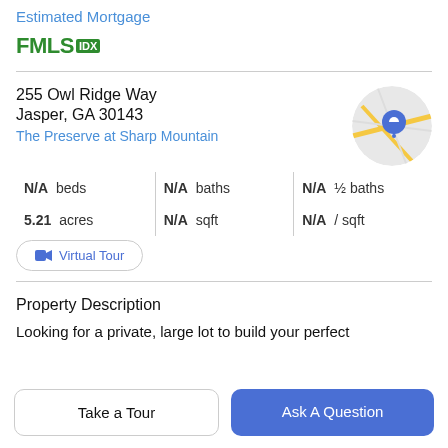Estimated Mortgage
[Figure (logo): FMLS IDX logo in green]
255 Owl Ridge Way
Jasper, GA 30143
The Preserve at Sharp Mountain
[Figure (map): Circular map thumbnail with location pin]
N/A beds | N/A baths | N/A ½ baths
5.21 acres | N/A sqft | N/A / sqft
Virtual Tour
Property Description
Looking for a private, large lot to build your perfect
Take a Tour
Ask A Question